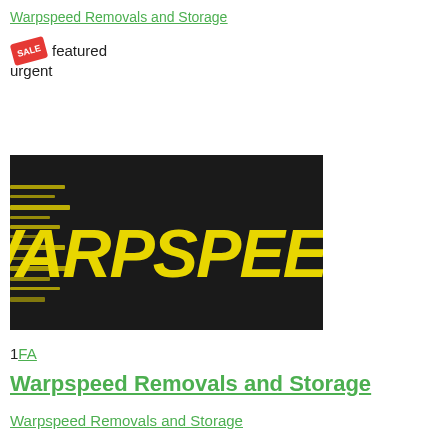Warpspeed Removals and Storage
featured
urgent
[Figure (logo): Warpspeed logo: yellow italic bold text 'WARPSPEED' with speed-line effect on black background]
1 FA
Warpspeed Removals and Storage
Warpspeed Removals and Storage